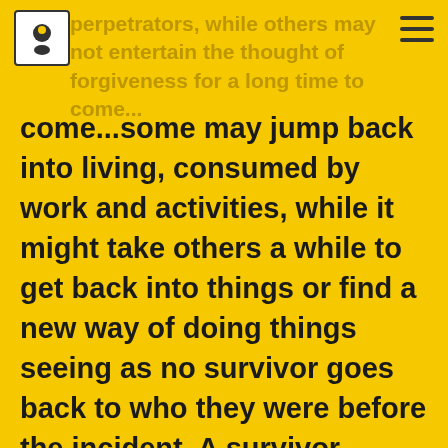perpetrators, while others may not entertain the thought of forgiveness for a long time to come...
come...some may jump back into living, consumed by work and activities, while it might take others a while to get back into things or find a new way of doing things seeing as no survivor goes back to who they were before the incident. A survivor who’s healing might recover by talking about their trauma openly, while another might want to keep it personal. That’s also perfectly okay. It is important to remember that there’s no universal measuring tape that marks how much a survivor has healed, so don’t compare your healing to others.
Rather, take the time to consider what healing means to you, think about the milestones